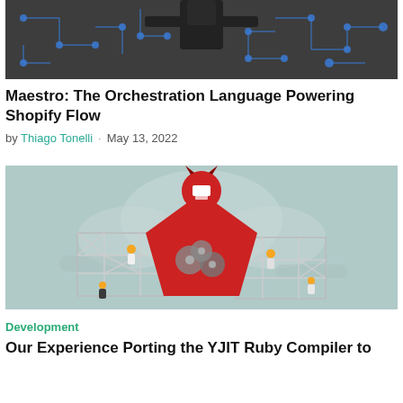[Figure (illustration): Dark grey background with blue circuit board pattern lines and nodes. A dark robot or character figure visible at top center with arms outstretched.]
Maestro: The Orchestration Language Powering Shopify Flow
by Thiago Tonelli · May 13, 2022
[Figure (illustration): Illustrated scene with a large red robot/warrior figure with horns and gears on its chest, standing on scaffolding. Construction workers in safety gear visible on scaffolding around the figure. Background is pale teal/grey with wing-like shapes.]
Development
Our Experience Porting the YJIT Ruby Compiler to